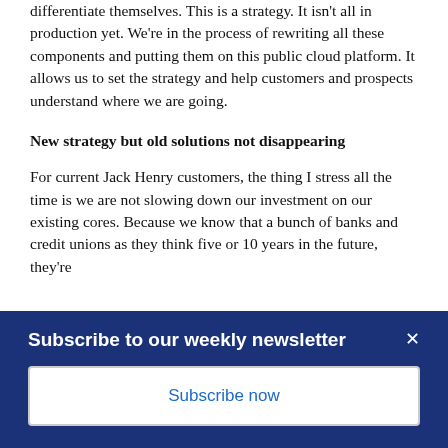differentiate themselves. This is a strategy. It isn't all in production yet. We're in the process of rewriting all these components and putting them on this public cloud platform. It allows us to set the strategy and help customers and prospects understand where we are going.
New strategy but old solutions not disappearing
For current Jack Henry customers, the thing I stress all the time is we are not slowing down our investment on our existing cores. Because we know that a bunch of banks and credit unions as they think five or 10 years in the future, they're
Subscribe to our weekly newsletter
Subscribe now